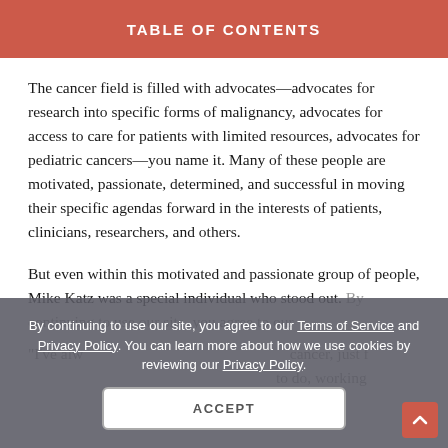TABLE OF CONTENTS
The cancer field is filled with advocates—advocates for research into specific forms of malignancy, advocates for access to care for patients with limited resources, advocates for pediatric cancers—you name it. Many of these people are motivated, passionate, determined, and successful in moving their specific agendas forward in the interests of patients, clinicians, researchers, and others.
But even within this motivated and passionate group of people, Mike Katz was a special individual who stood out.
"I've always been someone who, if I have cancer, just forge forward and try to do everything I have to do, working on both the science and treatment side—